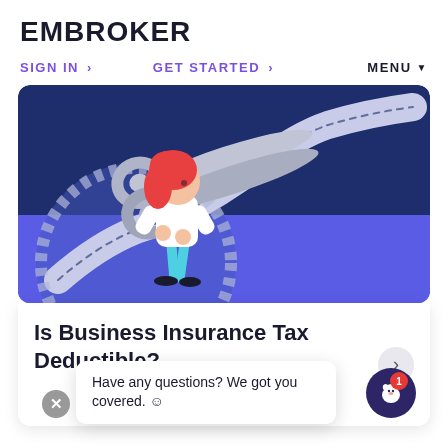EMBROKER
SIGN IN >   GET STARTED >   MENU ▼
[Figure (illustration): Illustration of a woman with red hair holding large scissors cutting through a wavy white dashed tape or ribbon on a dark blue and purple background]
Is Business Insurance Tax Deductible?
Have any questions? We got you covered. ☺